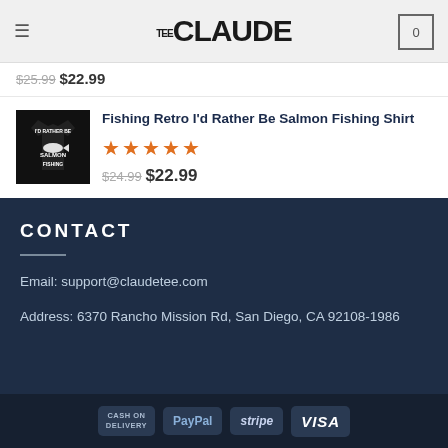TeeCLAUDE
$25.99  $22.99
[Figure (photo): Product thumbnail of black t-shirt with 'I'd Rather Be Salmon Fishing' text and salmon graphic]
Fishing Retro I'd Rather Be Salmon Fishing Shirt
★★★★★
$24.99  $22.99
CONTACT
Email: support@claudetee.com
Address: 6370 Rancho Mission Rd, San Diego, CA 92108-1986
CASH ON DELIVERY  PayPal  stripe  VISA